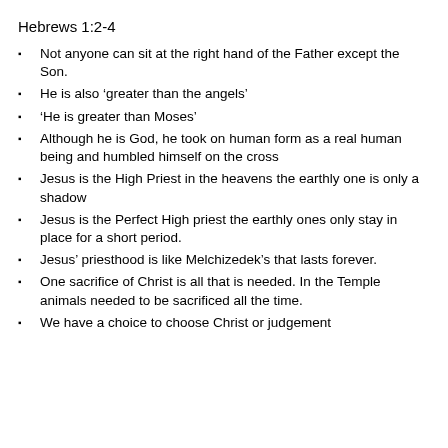Hebrews 1:2-4
Not anyone can sit at the right hand of the Father except the Son.
He is also ‘greater than the angels’
‘He is greater than Moses’
Although he is God, he took on human form as a real human being and humbled himself on the cross
Jesus is the High Priest in the heavens the earthly one is only a shadow
Jesus is the Perfect High priest the earthly ones only stay in place for a short period.
Jesus’ priesthood is like Melchizedek’s that lasts forever.
One sacrifice of Christ is all that is needed.  In the Temple animals needed to be sacrificed all the time.
We have a choice to choose Christ or judgement